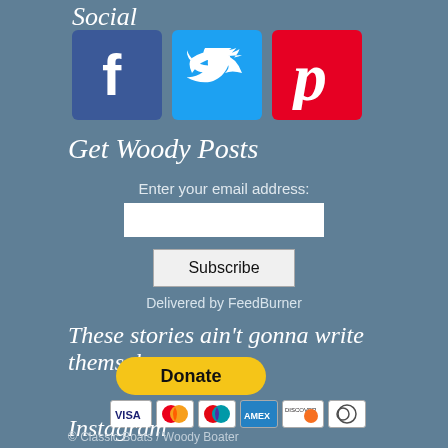Social
[Figure (logo): Social media icons: Facebook (blue), Twitter (light blue), Pinterest (red)]
Get Woody Posts
Enter your email address:
Subscribe
Delivered by FeedBurner
These stories ain't gonna write themselves
[Figure (other): PayPal Donate button with payment method icons (Visa, Mastercard, Maestro, Amex, Discover, Diners)]
Instagram
© Classic Boats / Woody Boater